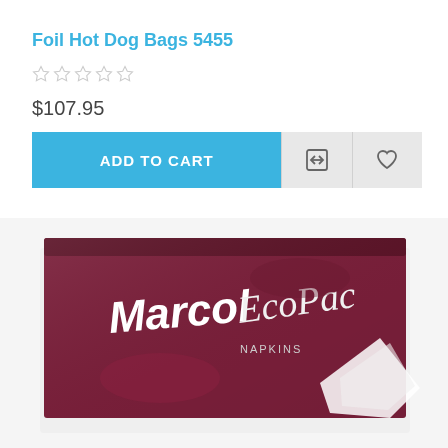Foil Hot Dog Bags 5455
☆☆☆☆☆
$107.95
ADD TO CART
[Figure (photo): Product photo of a Marcol EcoPac box, dark red/maroon packaging with white text and graphic design elements.]